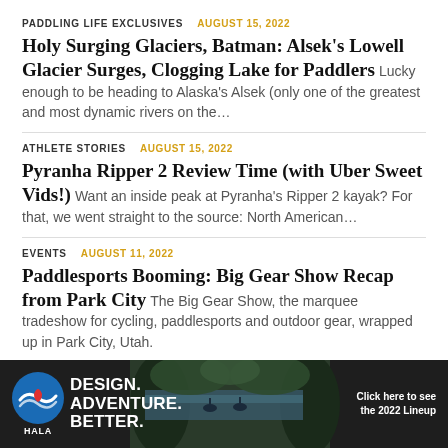PADDLING LIFE EXCLUSIVES   AUGUST 15, 2022
Holy Surging Glaciers, Batman: Alsek's Lowell Glacier Surges, Clogging Lake for Paddlers
Lucky enough to be heading to Alaska's Alsek (only one of the greatest and most dynamic rivers on the…
ATHLETE STORIES   AUGUST 15, 2022
Pyranha Ripper 2 Review Time (with Uber Sweet Vids!)
Want an inside peak at Pyranha's Ripper 2 kayak? For that, we went straight to the source: North American…
EVENTS   AUGUST 11, 2022
Paddlesports Booming: Big Gear Show Recap from Park City
The Big Gear Show, the marquee tradeshow for cycling, paddlesports and outdoor gear, wrapped up in Park City, Utah.
- Advertisement -
[Figure (photo): Hala brand advertisement banner with logo, tagline 'DESIGN. ADVENTURE. BETTER.' and a photo of kayakers on a river gorge, with CTA 'Click here to see the 2022 Lineup']